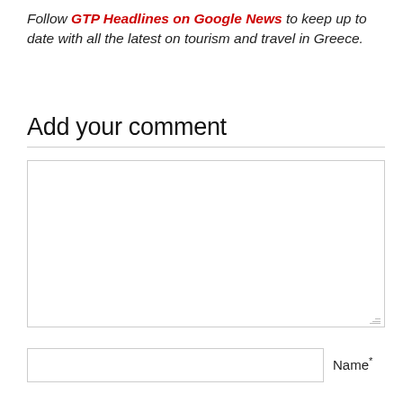Follow GTP Headlines on Google News to keep up to date with all the latest on tourism and travel in Greece.
Add your comment
[Figure (other): Empty comment text area input field with resize handle]
Name *